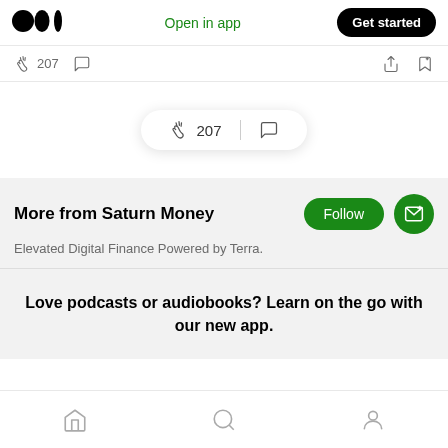[Figure (logo): Medium logo (two black circles and oval shapes)]
Open in app
Get started
207
207
More from Saturn Money
Elevated Digital Finance Powered by Terra.
Love podcasts or audiobooks? Learn on the go with our new app.
Home / Search / Profile navigation